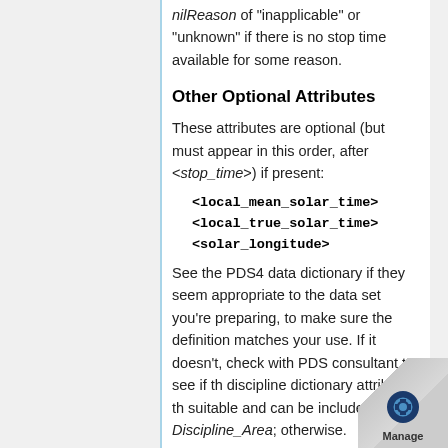nilReason of "inapplicable" or "unknown" if there is no stop time available for some reason.
Other Optional Attributes
These attributes are optional (but must appear in this order, after <stop_time>) if present:
<local_mean_solar_time>
<local_true_solar_time>
<solar_longitude>
See the PDS4 data dictionary if they seem appropriate to the data set you're preparing, to make sure the definition matches your use. If it doesn't, check with PDS consultant to see if the discipline dictionary attribute that is suitable and can be included in Discipline_Area; otherwise.